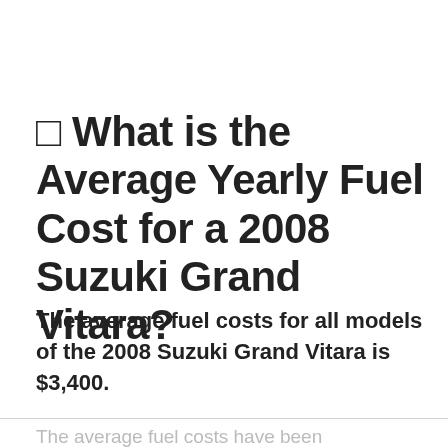🔲 What is the Average Yearly Fuel Cost for a 2008 Suzuki Grand Vitara?
The average fuel costs for all models of the 2008 Suzuki Grand Vitara is $3,400.
The average fuel costs have been